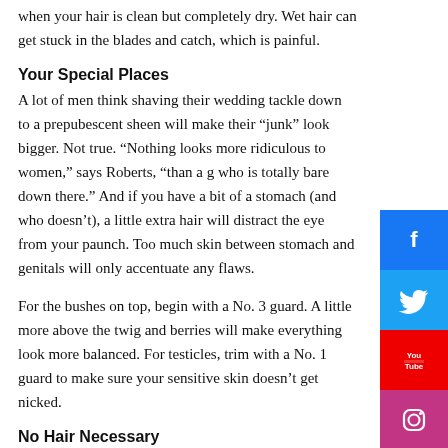when your hair is clean but completely dry. Wet hair can get stuck in the blades and catch, which is painful.
Your Special Places
A lot of men think shaving their wedding tackle down to a prepubescent sheen will make their “junk” look bigger. Not true. “Nothing looks more ridiculous to women,” says Roberts, “than a g who is totally bare down there.” And if you have a bit of a stomach (and who doesn’t), a little extra hair will distract the eye from your paunch. Too much skin between stomach and genitals will only accentuate any flaws.
For the bushes on top, begin with a No. 3 guard. A little more above the twig and berries will make everything look more balanced. For testicles, trim with a No. 1 guard to make sure your sensitive skin doesn’t get nicked.
No Hair Necessary
Back and shoulder hair is just a no-no. “Take it all off,” says Roberts. If these areas are too hard to reach, you might want to look into laser